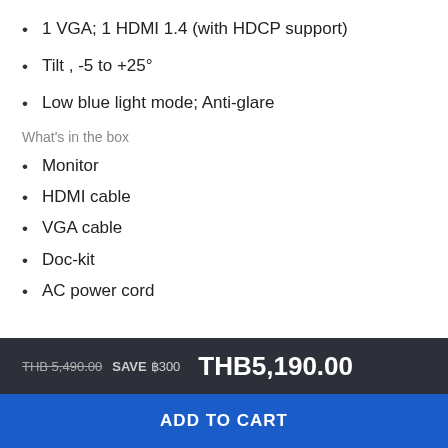1 VGA; 1 HDMI 1.4 (with HDCP support)
Tilt , -5 to +25°
Low blue light mode; Anti-glare
What's in the box
Monitor
HDMI cable
VGA cable
Doc-kit
AC power cord
THB 5,490.00  SAVE  ฿300  THB5,190.00
ADD TO CART